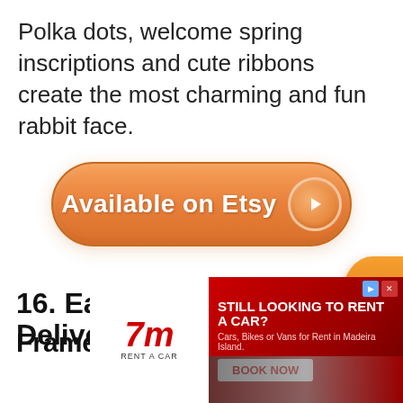Polka dots, welcome spring inscriptions and cute ribbons create the most charming and fun rabbit face.
[Figure (other): Orange pill-shaped 'Available on Etsy' button with play triangle icon]
[Figure (other): Orange circular 'Next' navigation button on right edge]
16. Easter Egg Special Delivery Framed Sign
[Figure (other): Advertisement banner: 7m Rent a Car - Still Looking to Rent a Car? Cars, Bikes or Vans for Rent in Madeira Island. Book Now.]